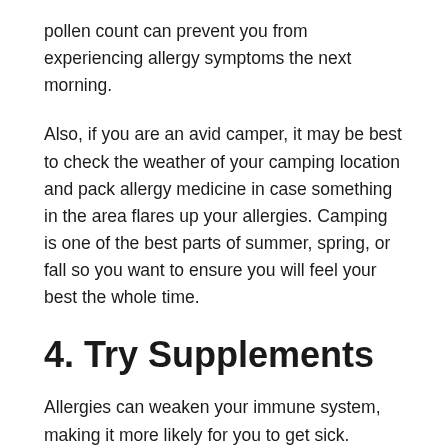pollen count can prevent you from experiencing allergy symptoms the next morning.
Also, if you are an avid camper, it may be best to check the weather of your camping location and pack allergy medicine in case something in the area flares up your allergies. Camping is one of the best parts of summer, spring, or fall so you want to ensure you will feel your best the whole time.
4. Try Supplements
Allergies can weaken your immune system, making it more likely for you to get sick. Additionally, since allergies and immune systems are linked, treating the immune system is a great way to prevent allergy attacks. Supplements can help target your body's immune system to prevent allergy flare-ups before they start. Some common supplements people